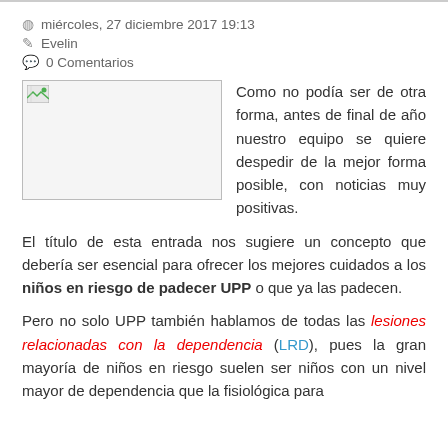miércoles, 27 diciembre 2017 19:13
Evelin
0 Comentarios
[Figure (photo): Placeholder image thumbnail with broken image icon]
Como no podía ser de otra forma, antes de final de año nuestro equipo se quiere despedir de la mejor forma posible, con noticias muy positivas.
El título de esta entrada nos sugiere un concepto que debería ser esencial para ofrecer los mejores cuidados a los niños en riesgo de padecer UPP o que ya las padecen.
Pero no solo UPP también hablamos de todas las lesiones relacionadas con la dependencia (LRD), pues la gran mayoría de niños en riesgo suelen ser niños con un nivel mayor de dependencia que la fisiológica para